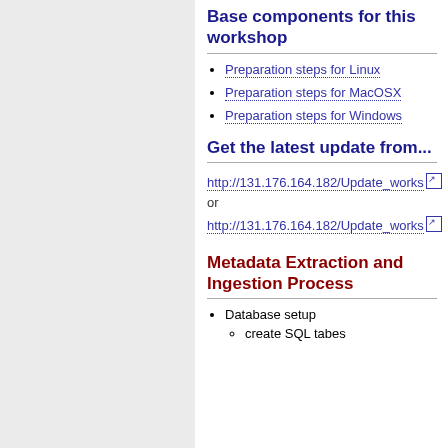Base components for this workshop
Preparation steps for Linux
Preparation steps for MacOSX
Preparation steps for Windows
Get the latest update from...
http://131.176.164.182/Update_works... [external icon] or http://131.176.164.182/Update_works... [external icon]
Metadata Extraction and Ingestion Process
Database setup
create SQL tabes